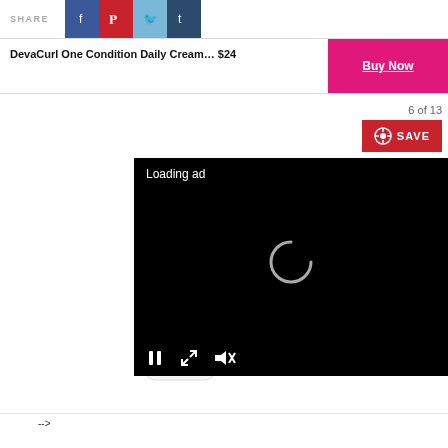SHARE
DevaCurl One Condition Daily Cream... $24
Buy Now
6 of 13
SAVE
[Figure (screenshot): Video ad overlay showing 'Loading ad' text with spinner and media controls (pause, expand, mute) on black background]
[Figure (photo): Moisture Balancing Conditioner bottle partial view]
moisture balancing conditioner acondicionador para balance de humedad
-->